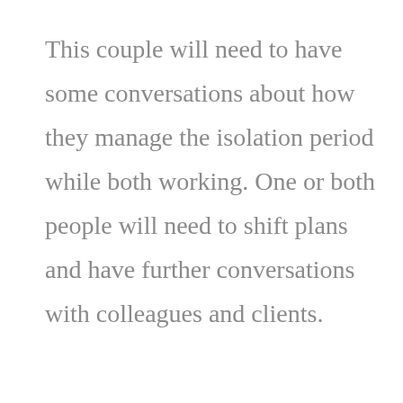This couple will need to have some conversations about how they manage the isolation period while both working. One or both people will need to shift plans and have further conversations with colleagues and clients.